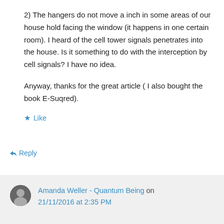2) The hangers do not move a inch in some areas of our house hold facing the window (it happens in one certain room). I heard of the cell tower signals penetrates into the house. Is it something to do with the interception by cell signals? I have no idea.

Anyway, thanks for the great article ( I also bought the book E-Suqred).
Like
Reply
Amanda Weller - Quantum Being on 21/11/2016 at 2:35 PM